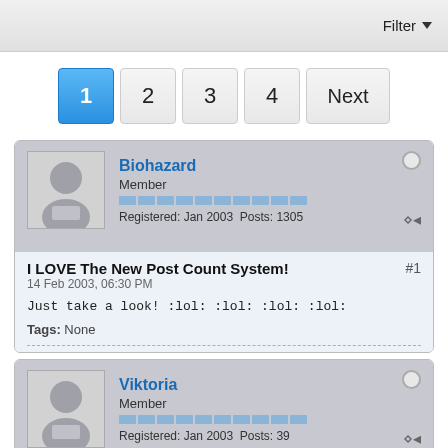Filter
1 2 3 4 Next
Biohazard
Member
Registered: Jan 2003  Posts: 1305
I LOVE The New Post Count System!
14 Feb 2003, 06:30 PM
Just take a look! :lol: :lol: :lol: :lol:
Tags: None
Viktoria
Member
Registered: Jan 2003  Posts: 39